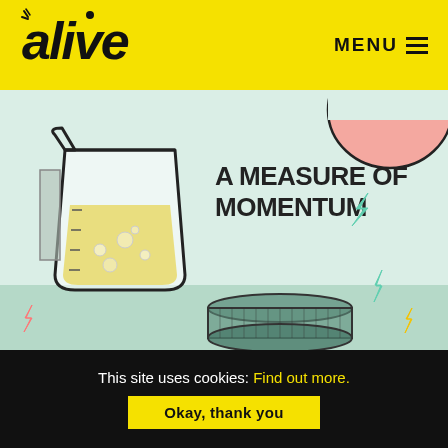[Figure (logo): Alive logo in black cursive font on yellow background]
MENU ≡
[Figure (infographic): Illustrated infographic with a beaker/measuring cup filled with yellow liquid, a pink semicircle shape, teal lightning bolts, and a round container at bottom. Light teal/mint background with green ground area. Title: A MEASURE OF MOMENTUM with a lightning bolt icon. Body text about creating feelings of personal progress.]
A MEASURE OF MOMENTUM ⚡
Create feelings of personal progress. How? Enable more moments of achievement and success by breaking bigger goals down into smaller steps. Create a series of smaller targets that can be celebrated and banked to boost energy and motivation.
This site uses cookies: Find out more.
Okay, thank you